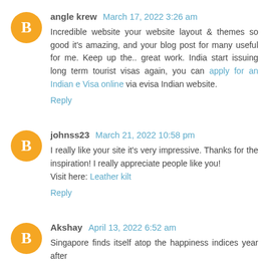angle krew March 17, 2022 3:26 am
Incredible website your website layout & themes so good it's amazing, and your blog post for many useful for me. Keep up the.. great work. India start issuing long term tourist visas again, you can apply for an Indian e Visa online via evisa Indian website.
Reply
johnss23 March 21, 2022 10:58 pm
I really like your site it's very impressive. Thanks for the inspiration! I really appreciate people like you!
Visit here: Leather kilt
Reply
Akshay April 13, 2022 6:52 am
Singapore finds itself atop the happiness indices year after